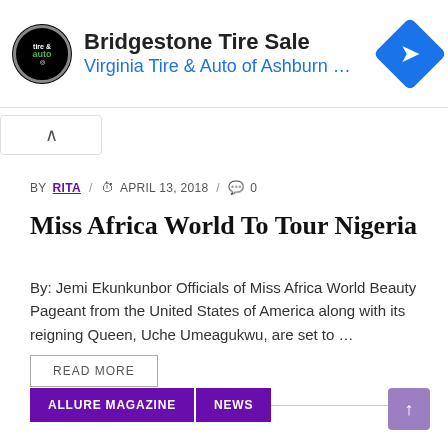[Figure (screenshot): Bridgestone Tire Sale ad banner with Virginia Tire & Auto of Ashburn logo and navigation arrow icon]
[Figure (other): Collapse/minimize button with upward chevron]
BY RITA / APRIL 13, 2018 / 0
Miss Africa World To Tour Nigeria
By: Jemi Ekunkunbor Officials of Miss Africa World Beauty Pageant from the United States of America along with its reigning Queen, Uche Umeagukwu, are set to …
READ MORE
ALLURE MAGAZINE
NEWS